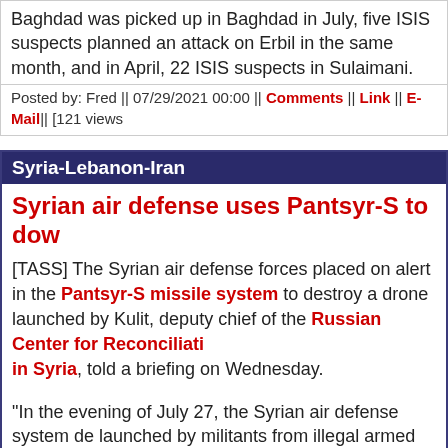Baghdad was picked up in Baghdad in July, five ISIS suspects planned an attack on Erbil in the same month, and in April, 22 ISIS suspects in Sulaimani.
Posted by: Fred || 07/29/2021 00:00 || Comments || Link || E-Mail|| [121 views]
Syria-Lebanon-Iran
Syrian air defense uses Pantsyr-S to dow
[TASS] The Syrian air defense forces placed on alert in the Pantsyr-S missile system to destroy a drone launched by Kulit, deputy chief of the Russian Center for Reconciliation in Syria, told a briefing on Wednesday.
"In the evening of July 27, the Syrian air defense system de launched by militants from illegal armed units from the Kafe Idlib Province. The militant drone was downed over the Ha of the Syrian air defense who used a Russia-produced Par said, noting that the Russian center is calling on the heads abandon violence and move toward a peaceful resolution o
Posted by: badanov || 07/29/2021 00:00 || Comments || Link || E-Mail|| [140 v
US sanctions Syrian militia accused of h